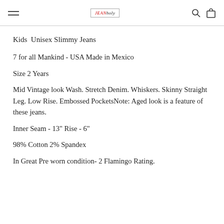Navigation header with hamburger menu, JEANholic logo, search and cart icons
Kids  Unisex Slimmy Jeans
7 for all Mankind - USA Made in Mexico
Size 2 Years
Mid Vintage look Wash. Stretch Denim. Whiskers. Skinny Straight Leg. Low Rise. Embossed PocketsNote: Aged look is a feature of these jeans.
Inner Seam - 13" Rise - 6"
98% Cotton 2% Spandex
In Great Pre worn condition- 2 Flamingo Rating.